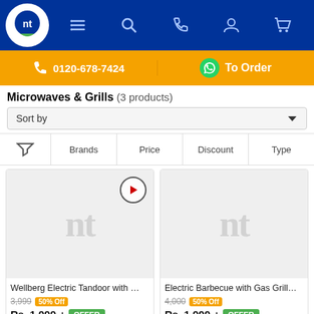[Figure (screenshot): Navigation bar with nt logo and icons for menu, search, phone, user, cart]
0120-678-7424   To Order
Microwaves & Grills (3 products)
Sort by
Brands   Price   Discount   Type
[Figure (photo): Product image placeholder with nt watermark and play button - Wellberg Electric Tandoor]
Wellberg Electric Tandoor with …
3,999  50% Off  Rs. 1,999 + OFFER
[Figure (photo): Product image placeholder with nt watermark - Electric Barbecue with Gas Grill]
Electric Barbecue with Gas Grill…
4,000  50% Off  Rs. 1,999 + OFFER